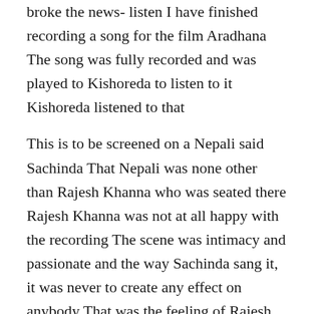broke the news- listen I have finished recording a song for the film Aradhana The song was fully recorded and was played to Kishoreda to listen to it Kishoreda listened to that
This is to be screened on a Nepali said Sachinda That Nepali was none other than Rajesh Khanna who was seated there Rajesh Khanna was not at all happy with the recording The scene was intimacy and passionate and the way Sachinda sang it, it was never to create any effect on anybody That was the feeling of Rajesh Khanna In away and in all the way, but the way Sachinda sang it was something like the village infancy That would not go well with the audience felt Rajesh Khanna, but he was speechless as Sachinda was the music director of the film and he was a huge figure, and terms of the towering personality beside the inferno that he was as far as his place in the Indian music industry was concerned
How was it asked Sachinda after the song was played to